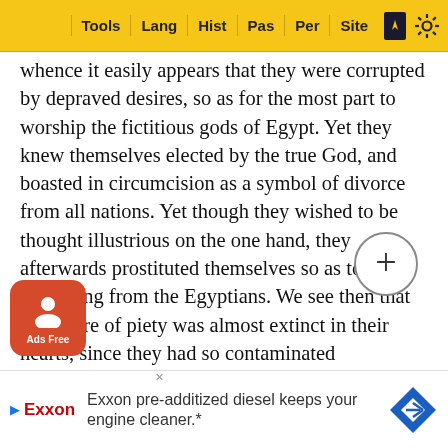Tools | Lang | Hist | Pas | Per | Site
whence it easily appears that they were corrupted by depraved desires, so as for the most part to worship the fictitious gods of Egypt. Yet they knew themselves elected by the true God, and boasted in circumcision as a symbol of divorce from all nations. Yet though they wished to be thought illustrious on the one hand, they afterwards prostituted themselves so as to differ in nothing from the Egyptians. We see then that the desire of piety was almost extinct in their hearts, since they had so contaminated themselves with the superstitions of Egypt. That he might retain them the better, he says at the same time that he was their God: for without this principle men are tossed hither and thither, for we know that we are lighter than vanity. Hence the devil will always find us subject to his fallacies, unless God restrains us in our duty, until he appears to avow himself the only God: we see then the necessity for this remedy, lest men should be carried away by idolatries, namely, [name and title] will follow